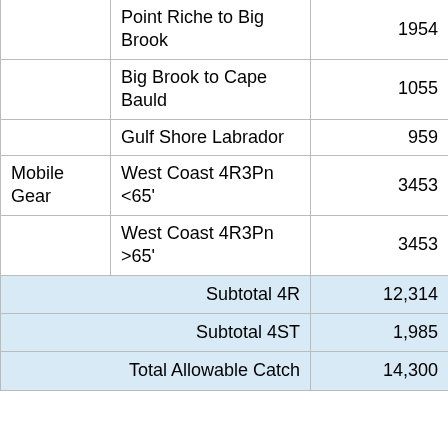|  |  |  |
| --- | --- | --- |
|  | Point Riche to Big Brook | 1954 |
|  | Big Brook to Cape Bauld | 1055 |
|  | Gulf Shore Labrador | 959 |
| Mobile Gear | West Coast 4R3Pn <65' | 3453 |
|  | West Coast 4R3Pn >65' | 3453 |
| Subtotal 4R |  | 12,314 |
| Subtotal 4ST |  | 1,985 |
| Total Allowable Catch |  | 14,300 |